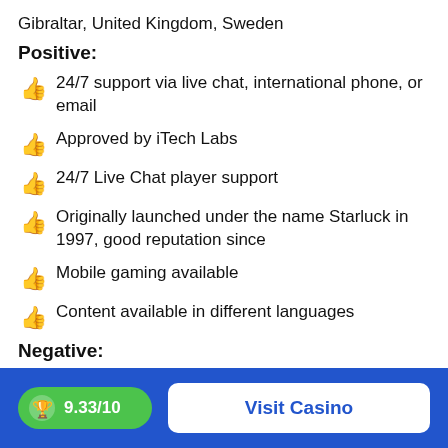Gibraltar, United Kingdom, Sweden
Positive:
24/7 support via live chat, international phone, or email
Approved by iTech Labs
24/7 Live Chat player support
Originally launched under the name Starluck in 1997, good reputation since
Mobile gaming available
Content available in different languages
Negative:
Unavailable to several countries